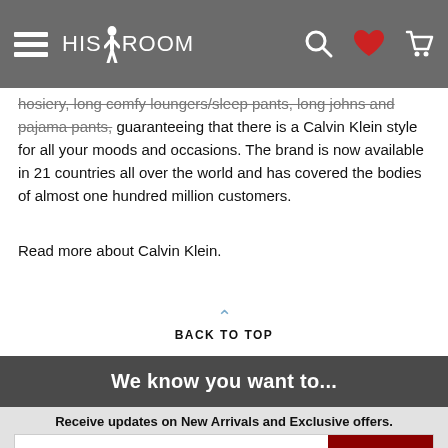HIS ROOM — navigation header with hamburger menu, logo, search, heart, and cart icons
hosiery, long comfy loungers/sleep pants, long johns and pajama pants, guaranteeing that there is a Calvin Klein style for all your moods and occasions. The brand is now available in 21 countries all over the world and has covered the bodies of almost one hundred million customers.
Read more about Calvin Klein.
^ BACK TO TOP
We know you want to...
Receive updates on New Arrivals and Exclusive offers.
Enter Your Email Address  SIGN UP
HisRoom respects your privacy
Unsubscribe